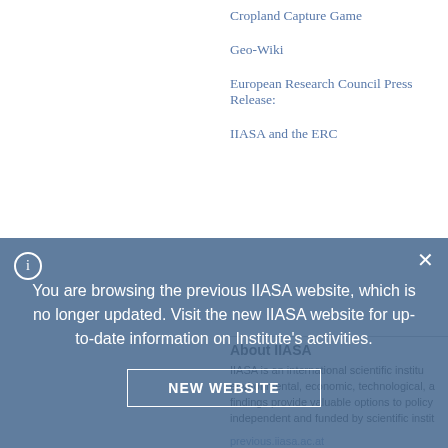Cropland Capture Game
Geo-Wiki
European Research Council Press Release:
IIASA and the ERC
About IIASA
IIASA is an international scientific institute environmental, economic, technological, a findings provide valuable options to policy independent and funded by scientific instit
previous.iiasa.ac.at
About the ERC
Set up in 2007 by the EU, the European Re research. It aims t between the very b researchers ('ERC rants'), and senior re funding can amount to a maximum of €2 m €3.5 million for an Advanced G
You are browsing the previous IIASA website, which is no longer updated. Visit the new IIASA website for up-to-date information on Institute's activities.
NEW WEBSITE